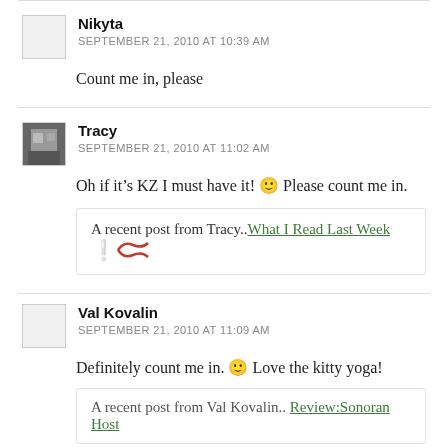Nikyta
SEPTEMBER 21, 2010 AT 10:39 AM
Count me in, please
Tracy
SEPTEMBER 21, 2010 AT 11:02 AM
Oh if it's KZ I must have it! 🙂 Please count me in.
A recent post from Tracy..What I Read Last Week 🦅
Val Kovalin
SEPTEMBER 21, 2010 AT 11:09 AM
Definitely count me in. 🙂 Love the kitty yoga!
A recent post from Val Kovalin..Review:Sonoran Host